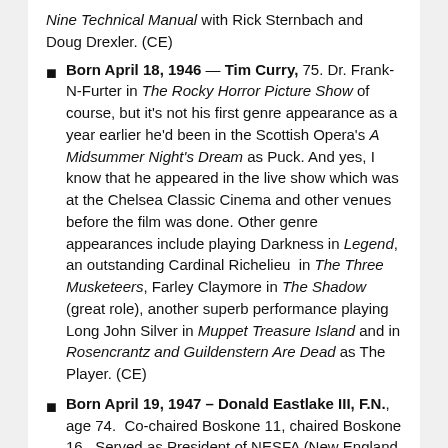Nine Technical Manual with Rick Sternbach and Doug Drexler. (CE)
Born April 18, 1946 — Tim Curry, 75. Dr. Frank-N-Furter in The Rocky Horror Picture Show of course, but it's not his first genre appearance as a year earlier he'd been in the Scottish Opera's A Midsummer Night's Dream as Puck. And yes, I know that he appeared in the live show which was at the Chelsea Classic Cinema and other venues before the film was done. Other genre appearances include playing Darkness in Legend, an outstanding Cardinal Richelieu in The Three Musketeers, Farley Claymore in The Shadow (great role), another superb performance playing Long John Silver in Muppet Treasure Island and in Rosencrantz and Guildenstern Are Dead as The Player. (CE)
Born April 19, 1947 – Donald Eastlake III, F.N., age 74. Co-chaired Boskone 11, chaired Boskone 16. Served as President of NESFA (New England SF Ass'n). Frequent chair of WSFS (World SF Society) Business Meetings, a particularly difficult...